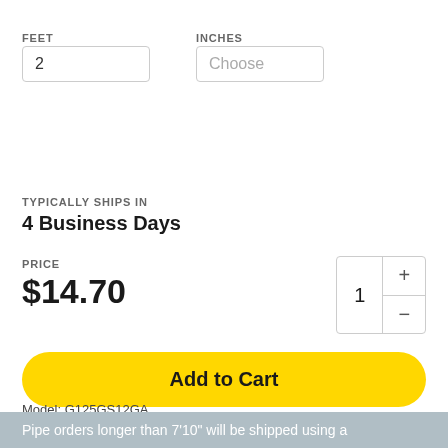FEET
INCHES
2
Choose
TYPICALLY SHIPS IN
4 Business Days
PRICE
$14.70
1
Add to Cart
Model: G125GS12GA
Pipe orders longer than 7'10" will be shipped using a